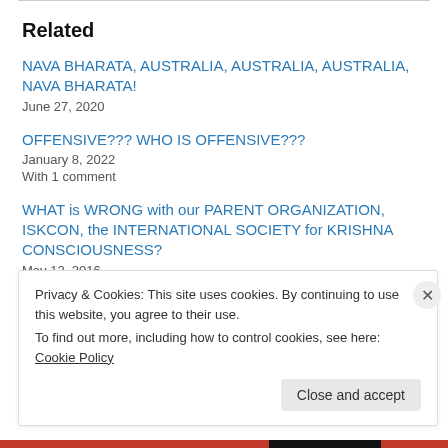Related
NAVA BHARATA, AUSTRALIA, AUSTRALIA, AUSTRALIA, NAVA BHARATA!
June 27, 2020
OFFENSIVE??? WHO IS OFFENSIVE???
January 8, 2022
With 1 comment
WHAT is WRONG with our PARENT ORGANIZATION, ISKCON, the INTERNATIONAL SOCIETY for KRISHNA CONSCIOUSNESS?
May 12, 2016
Privacy & Cookies: This site uses cookies. By continuing to use this website, you agree to their use.
To find out more, including how to control cookies, see here: Cookie Policy